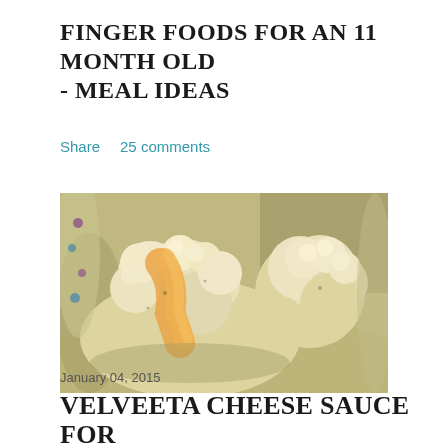FINGER FOODS FOR AN 11 MONTH OLD - MEAL IDEAS
Share    25 comments
[Figure (photo): Close-up photograph of steamed cauliflower florets with cheese sauce on a plate]
January 04, 2015
VELVEETA CHEESE SAUCE FOR STEAMED CAULIFLOWER OR BROCCOLI